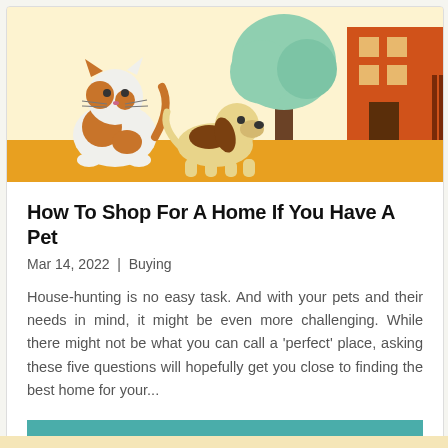[Figure (illustration): Illustrated scene with a calico cat sitting on the left, a small beagle dog walking in the center, a green-leafed tree in the background center, and an orange house/building on the right, all on an orange ground strip against a light yellow background.]
How To Shop For A Home If You Have A Pet
Mar 14, 2022 | Buying
House-hunting is no easy task. And with your pets and their needs in mind, it might be even more challenging. While there might not be what you can call a 'perfect' place, asking these five questions will hopefully get you close to finding the best home for your...
READ MORE